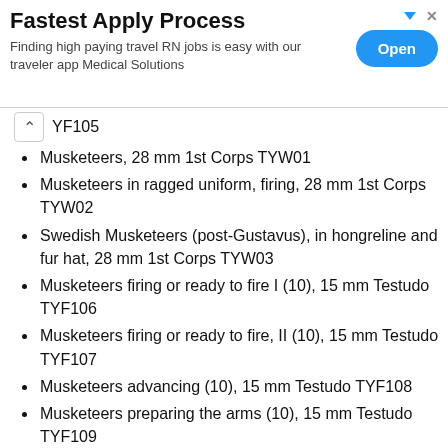[Figure (other): Advertisement banner: 'Fastest Apply Process' - Finding high paying travel RN jobs is easy with our traveler app Medical Solutions. Open button on right.]
YF105
Musketeers, 28 mm 1st Corps TYW01
Musketeers in ragged uniform, firing, 28 mm 1st Corps TYW02
Swedish Musketeers (post-Gustavus), in hongreline and fur hat, 28 mm 1st Corps TYW03
Musketeers firing or ready to fire I (10), 15 mm Testudo TYF106
Musketeers firing or ready to fire, II (10), 15 mm Testudo TYF107
Musketeers advancing (10), 15 mm Testudo TYF108
Musketeers preparing the arms (10), 15 mm Testudo TYF109
Plumes for infantry hats/helms (40), 15 mm Testudo TYP1
Imperial Infantry, 1:72 Revell 02556